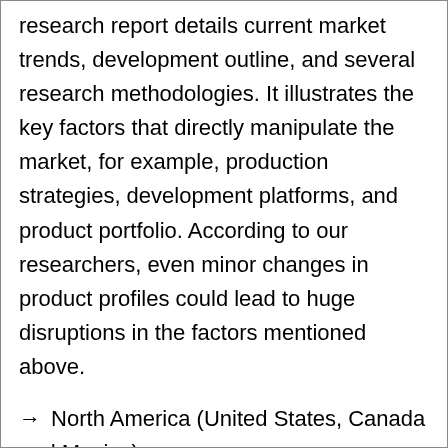research report details current market trends, development outline, and several research methodologies. It illustrates the key factors that directly manipulate the market, for example, production strategies, development platforms, and product portfolio. According to our researchers, even minor changes in product profiles could lead to huge disruptions in the factors mentioned above.
→ North America (United States, Canada and Mexico)
→ Europe (Germany, France, United Kingdom, Russia and Italy)
→ Asia-Pacific (China, Japan, Korea, India and